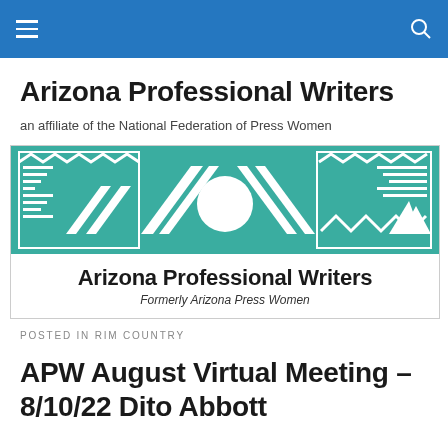Arizona Professional Writers
an affiliate of the National Federation of Press Women
[Figure (logo): Arizona Professional Writers logo banner: teal top section with Southwestern geometric patterns in white and a white circle in center; white bottom section with bold text 'Arizona Professional Writers' and italic text 'Formerly Arizona Press Women']
POSTED IN RIM COUNTRY
APW August Virtual Meeting – 8/10/22 Dito Abbott